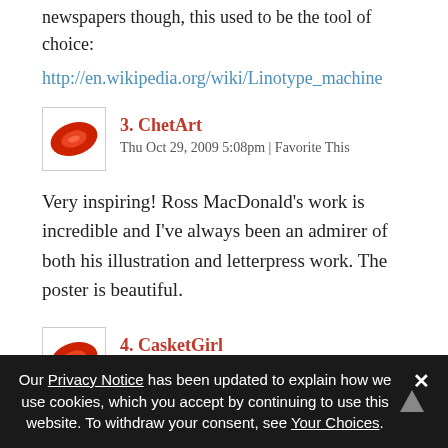newspapers though, this used to be the tool of choice:
http://en.wikipedia.org/wiki/Linotype_machine
3. ChetArt
Thu Oct 29, 2009 5:08pm | Favorite This
Very inspiring! Ross MacDonald's work is incredible and I've always been an admirer of both his illustration and letterpress work. The poster is beautiful.
4. CasketGirl
Thu Oct 29, 2009 5:30pm | Favorite This
Our Privacy Notice has been updated to explain how we use cookies, which you accept by continuing to use this website. To withdraw your consent, see Your Choices.